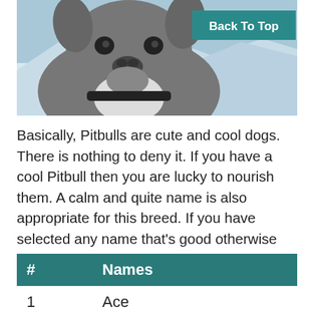[Figure (photo): A gray Pitbull dog close-up facing the camera with a snowy mountain background. A teal 'Back To Top' button appears in the top-right corner of the image.]
Basically, Pitbulls are cute and cool dogs. There is nothing to deny it. If you have a cool Pitbull then you are lucky to nourish them. A calm and quite name is also appropriate for this breed. If you have selected any name that’s good otherwise take a look at some cool dog names which we have collected.
| # | Names |
| --- | --- |
| 1 | Ace |